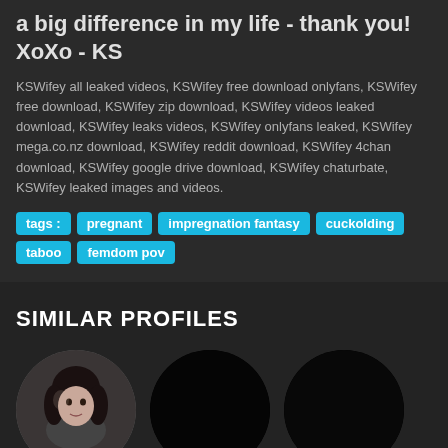a big difference in my life - thank you! XoXo - KS
KSWifey all leaked videos, KSWifey free download onlyfans, KSWifey free download, KSWifey zip download, KSWifey videos leaked download, KSWifey leaks videos, KSWifey onlyfans leaked, KSWifey mega.co.nz download, KSWifey reddit download, KSWifey 4chan download, KSWifey google drive download, KSWifey chaturbate, KSWifey leaked images and videos.
tags: pregnant, impregnation fantasy, cuckolding, taboo, femdom pov
SIMILAR PROFILES
[Figure (photo): Three circular profile thumbnails; the leftmost shows a dark-haired woman, the middle and right are black/dark circles.]